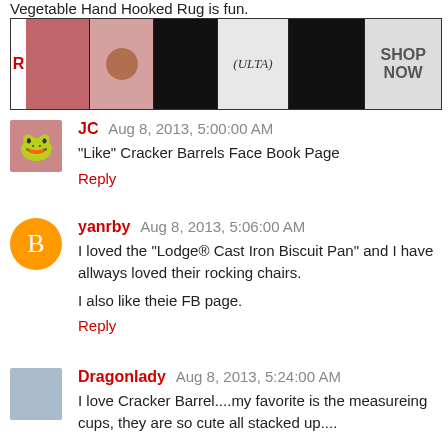Vegetable Hand Hooked Rug is fun.
[Figure (photo): ULTA beauty advertisement banner showing makeup imagery with lipstick, brush, eye makeup, ULTA logo, and SHOP NOW text]
JC  Aug 8, 2013, 5:00:00 AM
"Like" Cracker Barrels Face Book Page
Reply
yanrby  Aug 8, 2013, 5:06:00 AM
I loved the "Lodge® Cast Iron Biscuit Pan" and I have allways loved their rocking chairs.
I also like theie FB page.
Reply
Dragonlady  Aug 8, 2013, 5:24:00 AM
I love Cracker Barrel....my favorite is the measureing cups, they are so cute all stacked up....